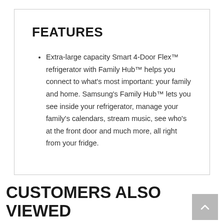FEATURES
Extra-large capacity Smart 4-Door Flex™ refrigerator with Family Hub™ helps you connect to what's most important: your family and home. Samsung's Family Hub™ lets you see inside your refrigerator, manage your family's calendars, stream music, see who's at the front door and much more, all right from your fridge.
CUSTOMERS ALSO VIEWED